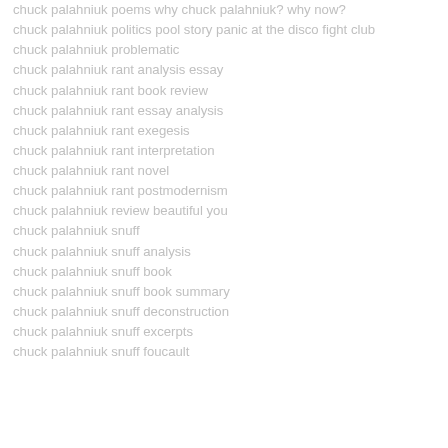chuck palahniuk poems why chuck palahniuk? why now?
chuck palahniuk politics pool story panic at the disco fight club
chuck palahniuk problematic
chuck palahniuk rant analysis essay
chuck palahniuk rant book review
chuck palahniuk rant essay analysis
chuck palahniuk rant exegesis
chuck palahniuk rant interpretation
chuck palahniuk rant novel
chuck palahniuk rant postmodernism
chuck palahniuk review beautiful you
chuck palahniuk snuff
chuck palahniuk snuff analysis
chuck palahniuk snuff book
chuck palahniuk snuff book summary
chuck palahniuk snuff deconstruction
chuck palahniuk snuff excerpts
chuck palahniuk snuff foucault